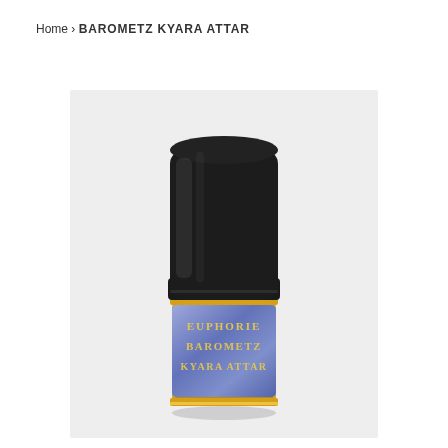Home › BAROMETZ KYARA ATTAR
[Figure (photo): A small glass perfume/attar bottle with a large black cap. The bottle has a blue label with gold borders reading 'EUPHORIE BAROMETZ KYARA ATTAR'. The background of the product image area is a light gray.]